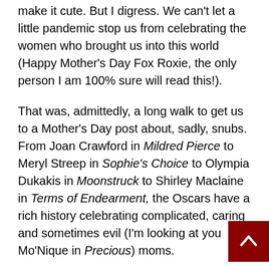make it cute. But I digress. We can't let a little pandemic stop us from celebrating the women who brought us into this world (Happy Mother's Day Fox Roxie, the only person I am 100% sure will read this!).
That was, admittedly, a long walk to get us to a Mother's Day post about, sadly, snubs. From Joan Crawford in Mildred Pierce to Meryl Streep in Sophie's Choice to Olympia Dukakis in Moonstruck to Shirley Maclaine in Terms of Endearment, the Oscars have a rich history celebrating complicated, caring and sometimes evil (I'm looking at you Mo'Nique in Precious) moms.
But what about the moms who are overlooked by the Academy. The ones who cried at the cemetery, sang Sondheim or ran the rapids or fought the boogie man? They were left off the Academy shortlist altogether! So today, as we celebrate